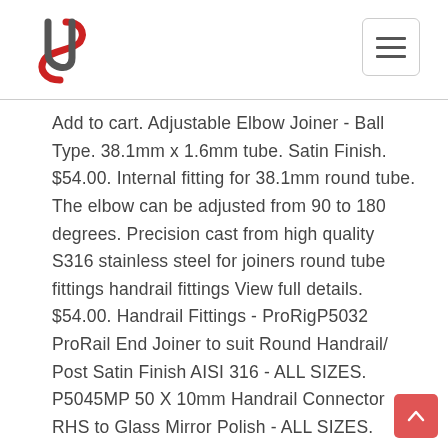Add to cart. Adjustable Elbow Joiner - Ball Type. 38.1mm x 1.6mm tube. Satin Finish. $54.00. Internal fitting for 38.1mm round tube. The elbow can be adjusted from 90 to 180 degrees. Precision cast from high quality S316 stainless steel for joiners round tube fittings handrail fittings View full details. $54.00. Handrail Fittings - ProRigP5032 ProRail End Joiner to suit Round Handrail/ Post Satin Finish AISI 316 - ALL SIZES. P5045MP 50 X 10mm Handrail Connector RHS to Glass Mirror Polish - ALL SIZES. P5045SF 50 X 10mm Handrail Connector RHS to Glass Satin Finish. P5046-16MP End Fitting Flat suits 50 x 10mm RHS Mirror Polish. Images of Joiners Round Tube Fittings Handrail Fittings phoenixdistributors.auJoiners - Round Tube Fittings - Handrail Fittingshammersmith.auStainless Steel Fittings Round Stainless Balustrade SSF073-M6ebay.au316 Stainless Steel 50.8mm Tube Fittings Balustrade Fence Rail Joiner Wall ebay.au316 Stainless Steel 50.8mm Tube Fittings